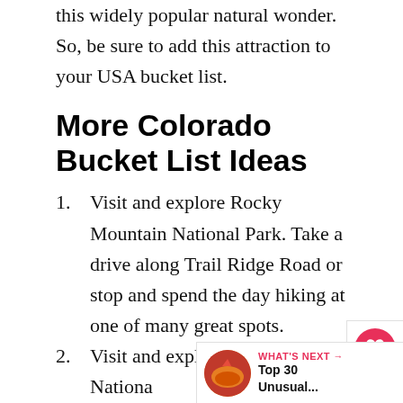this widely popular natural wonder. So, be sure to add this attraction to your USA bucket list.
More Colorado Bucket List Ideas
Visit and explore Rocky Mountain National Park. Take a drive along Trail Ridge Road or stop and spend the day hiking at one of many great spots.
Visit and explore Mesa Verde National Park. The cliff dwellings found here are extraordinary examples of the of the people that called them home.